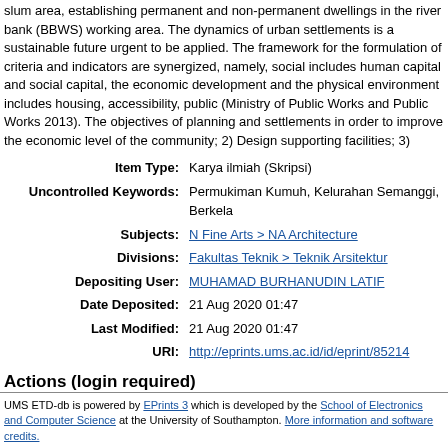slum area, establishing permanent and non-permanent dwellings in the river bank (BBWS) working area. The dynamics of urban settlements is a sustainable future urgent to be applied. The framework for the formulation of criteria and indicators are synergized, namely, social includes human capital and social capital, the economic development and the physical environment includes housing, accessibility, public (Ministry of Public Works and Public Works 2013). The objectives of planning and settlements in order to improve the economic level of the community; 2) Design supporting facilities; 3) Organizing slum areas in order to improve the quality of Village, Sustainable
| Field | Value |
| --- | --- |
| Item Type: | Karya ilmiah (Skripsi) |
| Uncontrolled Keywords: | Permukiman Kumuh, Kelurahan Semanggi, Berkel... |
| Subjects: | N Fine Arts > NA Architecture |
| Divisions: | Fakultas Teknik > Teknik Arsitektur |
| Depositing User: | MUHAMAD BURHANUDIN LATIF |
| Date Deposited: | 21 Aug 2020 01:47 |
| Last Modified: | 21 Aug 2020 01:47 |
| URI: | http://eprints.ums.ac.id/id/eprint/85214 |
Actions (login required)
View Item
UMS ETD-db is powered by EPrints 3 which is developed by the School of Electronics and Computer Science at the University of Southampton. More information and software credits.